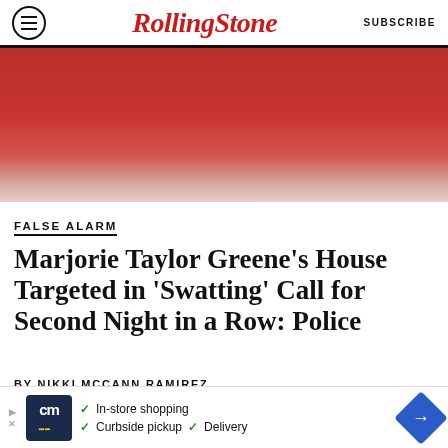Rolling Stone | SUBSCRIBE
[Figure (photo): Close-up photo of a person wearing a red top, cropped to show torso/shoulders area]
FALSE ALARM
Marjorie Taylor Greene's House Targeted in 'Swatting' Call for Second Night in a Row: Police
BY NIKKI MCCANN RAMIREZ
[Figure (photo): Photo of protest sign reading CANCEL STUDENT DEBT with trees in background]
In-store shopping  Curbside pickup  Delivery